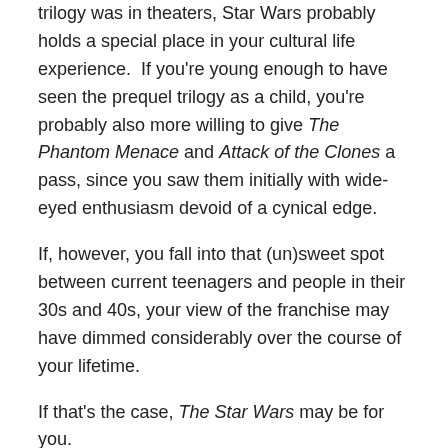trilogy was in theaters, Star Wars probably holds a special place in your cultural life experience. If you're young enough to have seen the prequel trilogy as a child, you're probably also more willing to give The Phantom Menace and Attack of the Clones a pass, since you saw them initially with wide-eyed enthusiasm devoid of a cynical edge.
If, however, you fall into that (un)sweet spot between current teenagers and people in their 30s and 40s, your view of the franchise may have dimmed considerably over the course of your lifetime.
If that's the case, The Star Wars may be for you.
Continue reading →
Share this: